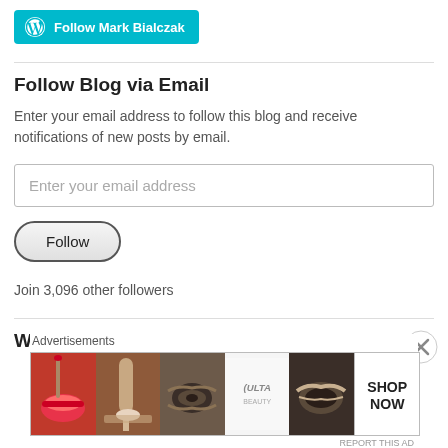[Figure (other): WordPress Follow button: 'Follow Mark Bialczak' with WordPress logo on teal/cyan background]
Follow Blog via Email
Enter your email address to follow this blog and receive notifications of new posts by email.
[Figure (other): Email input field with placeholder 'Enter your email address']
[Figure (other): Follow submit button with rounded border]
Join 3,096 other followers
What I've written
[Figure (other): Advertisements banner: Ulta Beauty ad with makeup imagery and Shop Now call to action]